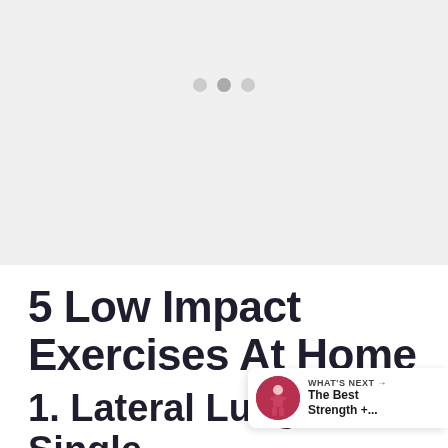[Figure (photo): Light gray placeholder image area with three dots indicating a carousel/slideshow]
5 Low Impact Exercises At Home
1. Lateral Lunge and Single